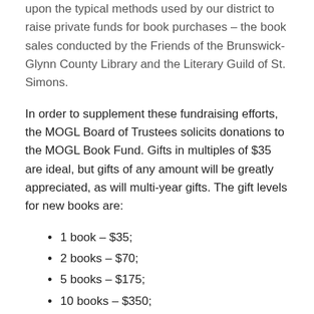upon the typical methods used by our district to raise private funds for book purchases – the book sales conducted by the Friends of the Brunswick-Glynn County Library and the Literary Guild of St. Simons.
In order to supplement these fundraising efforts, the MOGL Board of Trustees solicits donations to the MOGL Book Fund. Gifts in multiples of $35 are ideal, but gifts of any amount will be greatly appreciated, as will multi-year gifts. The gift levels for new books are:
1 book – $35;
2 books – $70;
5 books – $175;
10 books – $350;
20 books – $700;
30 books – $1,005;
40 books – $1,400; and
50 books – $1,750.
Gifts will be used only for the purchase of library quality